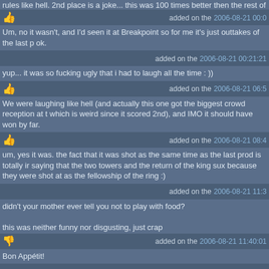rules like hell. 2nd place is a joke... this was 100 times better then the rest of the c
added on the 2006-08-21 00:0
Um, no it wasn't, and I'd seen it at Breakpoint so for me it's just outtakes of the last p ok.
added on the 2006-08-21 00:21:21
yup... it was so fucking ugly that i had to laugh all the time : ))
added on the 2006-08-21 06:5
We were laughing like hell (and actually this one got the biggest crowd reception at t which is weird since it scored 2nd), and IMO it should have won by far.
added on the 2006-08-21 08:4
um, yes it was. the fact that it was shot as the same time as the last prod is totally ir saying that the two towers and the return of the king sux because they were shot at as the fellowship of the ring :)
added on the 2006-08-21 11:3
didn't your mother ever tell you not to play with food?
this was neither funny nor disgusting, just crap
added on the 2006-08-21 11:40:01
Bon Appétit!
added on the 2006-08-21 12:
@ Truck: It's all about scene to make new things wit existing ones.
We used about 4 seconds of this 20 minuts rush in "Memorize your dinner" and this prods have a totally different structure, format and purpose. I don't see the point ther
@tribão: wow, "not disgusting"! Please teach us! :)
added on the 2006-08-21 15: